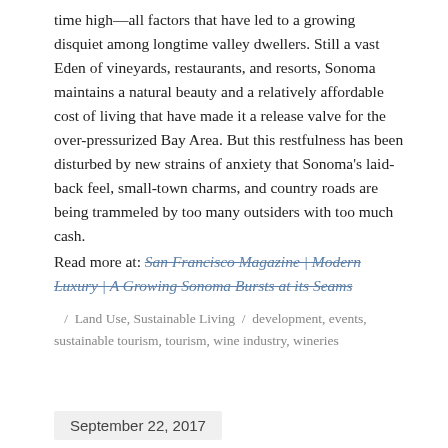time high—all factors that have led to a growing disquiet among longtime valley dwellers. Still a vast Eden of vineyards, restaurants, and resorts, Sonoma maintains a natural beauty and a relatively affordable cost of living that have made it a release valve for the over-pressurized Bay Area. But this restfulness has been disturbed by new strains of anxiety that Sonoma's laid-back feel, small-town charms, and country roads are being trammeled by too many outsiders with too much cash.
Read more at: San Francisco Magazine | Modern Luxury | A Growing Sonoma Bursts at its Seams
/ Land Use, Sustainable Living / development, events, sustainable tourism, tourism, wine industry, wineries
September 22, 2017
David Ramey's Westside Road winery approved by Sonoma County zoning board